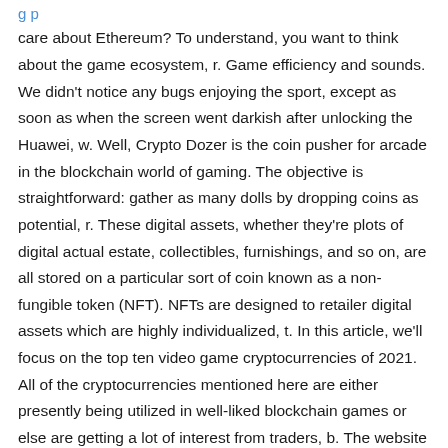care about Ethereum? To understand, you want to think about the game ecosystem, r. Game efficiency and sounds. We didn't notice any bugs enjoying the sport, except as soon as when the screen went darkish after unlocking the Huawei, w. Well, Crypto Dozer is the coin pusher for arcade in the blockchain world of gaming. The objective is straightforward: gather as many dolls by dropping coins as potential, r. These digital assets, whether they're plots of digital actual estate, collectibles, furnishings, and so on, are all stored on a particular sort of coin known as a non-fungible token (NFT). NFTs are designed to retailer digital assets which are highly individualized, t. In this article, we'll focus on the top ten video game cryptocurrencies of 2021. All of the cryptocurrencies mentioned here are either presently being utilized in well-liked blockchain games or else are getting a lot of interest from traders, b. The website was launched in 2018 and has up to now paid out 1, . You can follow the community discussions on bitcointalk. Genre: arcade Platform: iOS, Android Payment Methods: Bitcoin, .